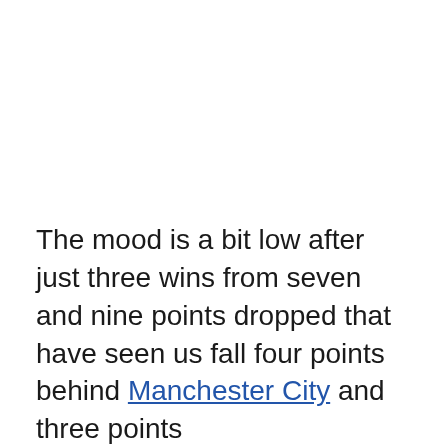The mood is a bit low after just three wins from seven and nine points dropped that have seen us fall four points behind Manchester City and three points